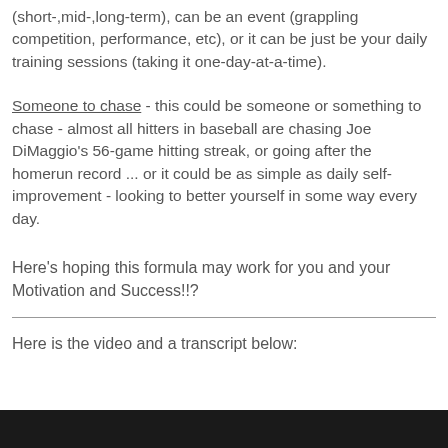(short-,mid-,long-term), can be an event (grappling competition, performance, etc), or it can be just be your daily training sessions (taking it one-day-at-a-time).
Someone to chase - this could be someone or something to chase - almost all hitters in baseball are chasing Joe DiMaggio's 56-game hitting streak, or going after the homerun record ... or it could be as simple as daily self-improvement - looking to better yourself in some way every day.
Here's hoping this formula may work for you and your Motivation and Success!!?
Here is the video and a transcript below:
[Figure (screenshot): Black video player area at the bottom of the page]